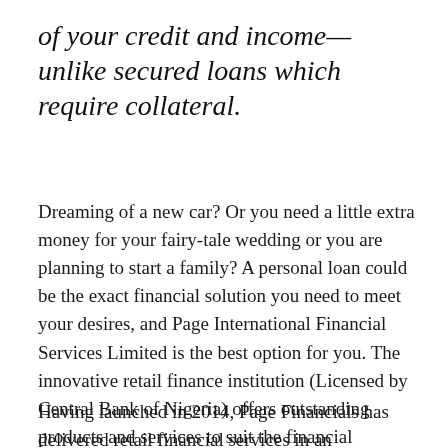of your credit and income— unlike secured loans which require collateral.
Dreaming of a new car? Or you need a little extra money for your fairy-tale wedding or you are planning to start a family? A personal loan could be the exact financial solution you need to meet your desires, and Page International Financial Services Limited is the best option for you. The innovative retail finance institution (Licensed by Central Bank of Nigeria) offers outstanding products and services to suit the financial requirements of our diverse clientele.
Having launched in 2014, Page Financials has delivered retail financial services in an unprecedented manner to all its esteemed customers.